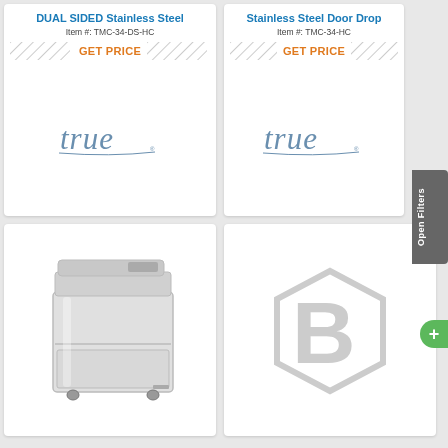DUAL SIDED Stainless Steel
Item #: TMC-34-DS-HC
GET PRICE
[Figure (logo): True brand cursive logo in steel blue]
Stainless Steel Door Drop
Item #: TMC-34-HC
GET PRICE
[Figure (logo): True brand cursive logo in steel blue]
[Figure (photo): Stainless steel milk cooler / beverage cooler on casters]
[Figure (logo): Beverage-Air hexagonal B logo watermark]